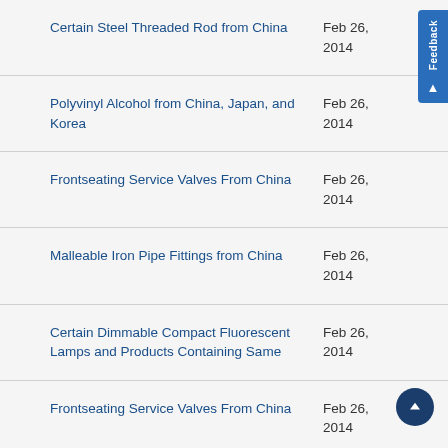Certain Steel Threaded Rod from China
Polyvinyl Alcohol from China, Japan, and Korea
Frontseating Service Valves From China
Malleable Iron Pipe Fittings from China
Certain Dimmable Compact Fluorescent Lamps and Products Containing Same
Frontseating Service Valves From China